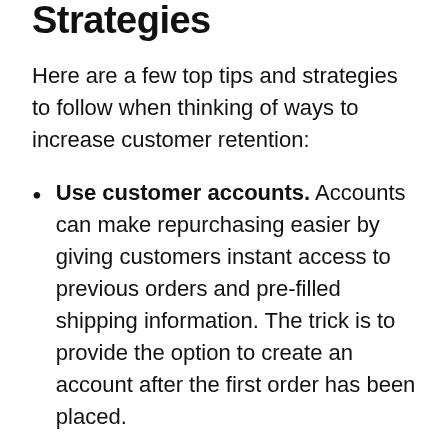Strategies
Here are a few top tips and strategies to follow when thinking of ways to increase customer retention:
Use customer accounts. Accounts can make repurchasing easier by giving customers instant access to previous orders and pre-filled shipping information. The trick is to provide the option to create an account after the first order has been placed.
Improve your customer support. Support systems help you effectively communicate with your customers and provide them with the right level of support. Having a live chat or help desk tool available can turn a